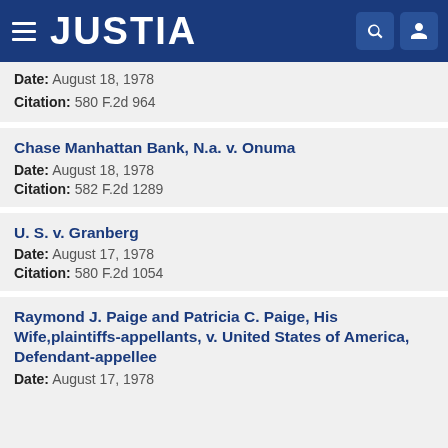JUSTIA
Date: August 18, 1978
Citation: 580 F.2d 964
Chase Manhattan Bank, N.a. v. Onuma
Date: August 18, 1978
Citation: 582 F.2d 1289
U. S. v. Granberg
Date: August 17, 1978
Citation: 580 F.2d 1054
Raymond J. Paige and Patricia C. Paige, His Wife,plaintiffs-appellants, v. United States of America, Defendant-appellee
Date: August 17, 1978